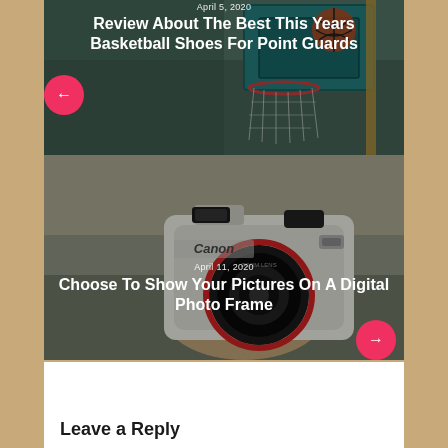[Figure (photo): Basketball hoop photo with overlay text showing date and article title about basketball shoes for point guards]
April 5, 2020
Review About The Best This Years Basketball Shoes For Point Guards
[Figure (photo): Person holding a Canon film camera, photo with overlay text about digital photo frames]
April 11, 2020
Choose To Show Your Pictures On A Digital Photo Frame
Leave a Reply